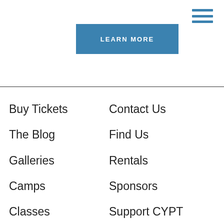[Figure (other): Hamburger menu icon (three horizontal blue lines) in top-right corner]
LEARN MORE
Buy Tickets
The Blog
Galleries
Camps
Classes
Auditions
Contact Us
Find Us
Rentals
Sponsors
Support CYPT